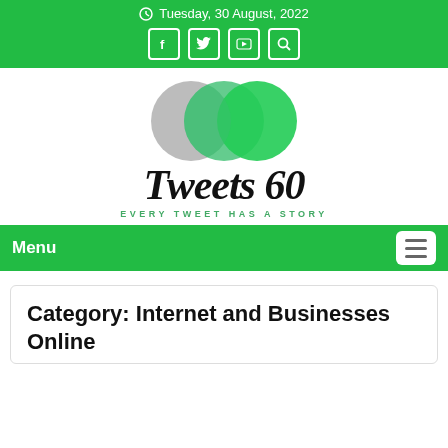Tuesday, 30 August, 2022
[Figure (logo): Tweets 60 logo with three overlapping circles (gray, medium green, bright green) above cursive text 'Tweets 60' and tagline 'EVERY TWEET HAS A STORY']
Menu
Category: Internet and Businesses Online